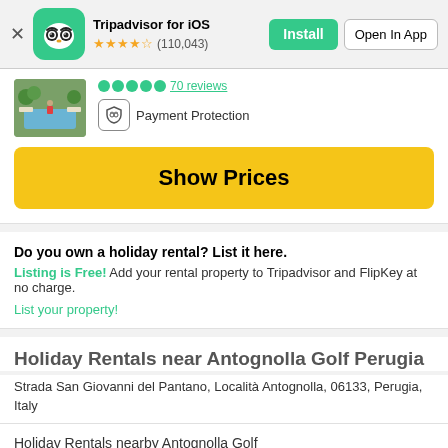Tripadvisor for iOS ★★★★½ (110,043) Install | Open In App
[Figure (screenshot): Partial property listing card with pool image, green circle ratings showing '70 reviews', Payment Protection badge, and yellow Show Prices button]
Do you own a holiday rental? List it here.
Listing is Free! Add your rental property to Tripadvisor and FlipKey at no charge.
List your property!
Holiday Rentals near Antognolla Golf Perugia
Strada San Giovanni del Pantano, Località Antognolla, 06133, Perugia, Italy
Holiday Rentals nearby Antognolla Golf
Perugia